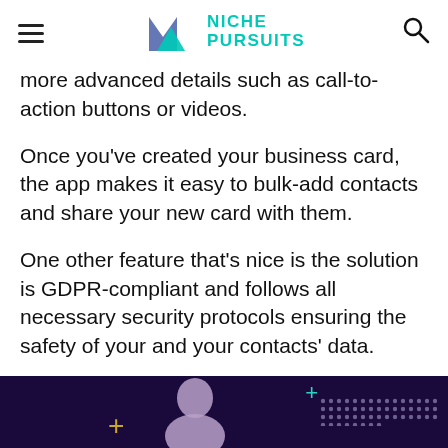NICHE PURSUITS
more advanced details such as call-to-action buttons or videos.
Once you've created your business card, the app makes it easy to bulk-add contacts and share your new card with them.
One other feature that's nice is the solution is GDPR-compliant and follows all necessary security protocols ensuring the safety of your and your contacts' data.
[Figure (photo): Bottom banner image showing a person silhouette against a dark purple background with decorative dots and plus symbols]